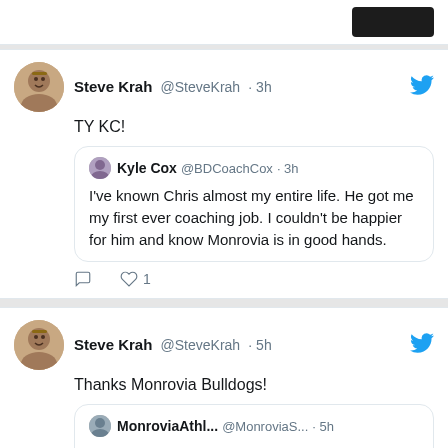[Figure (screenshot): Partial top of page showing edge of content]
Steve Krah @SteveKrah · 3h
TY KC!
Kyle Cox @BDCoachCox · 3h
I've known Chris almost my entire life. He got me my first ever coaching job. I couldn't be happier for him and know Monrovia is in good hands.
Steve Krah @SteveKrah · 5h
Thanks Monrovia Bulldogs!
MonroviaAthl... @MonroviaS... · 5h
Awesome article by @SteveKrah of Indiana RBI.  It features insight from new Monrovia HS baseball coach Chris Card and also players' info from both past and